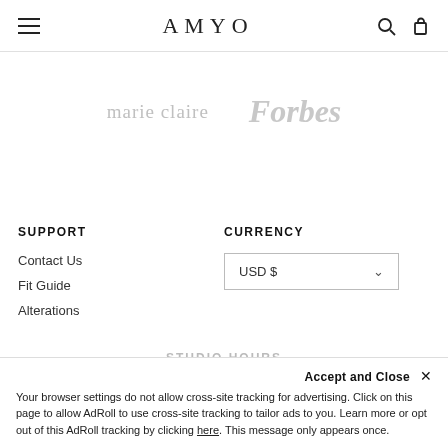AMYO
[Figure (logo): marie claire and Forbes media logos in light grey]
SUPPORT
CURRENCY
Contact Us
Fit Guide
Alterations
USD $
STUDIO HOURS
Care
Accept and Close ×
Your browser settings do not allow cross-site tracking for advertising. Click on this page to allow AdRoll to use cross-site tracking to tailor ads to you. Learn more or opt out of this AdRoll tracking by clicking here. This message only appears once.